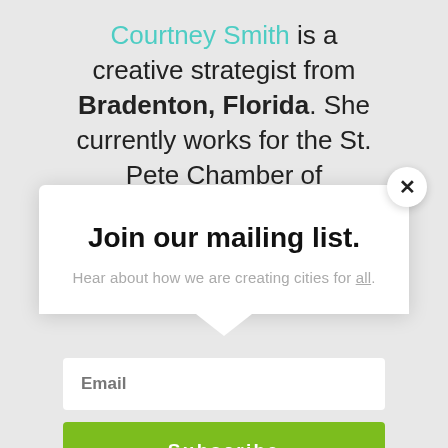Courtney Smith is a creative strategist from Bradenton, Florida. She currently works for the St. Pete Chamber of Commerce, where she
Join our mailing list.
Hear about how we are creating cities for all.
Email
Subscribe